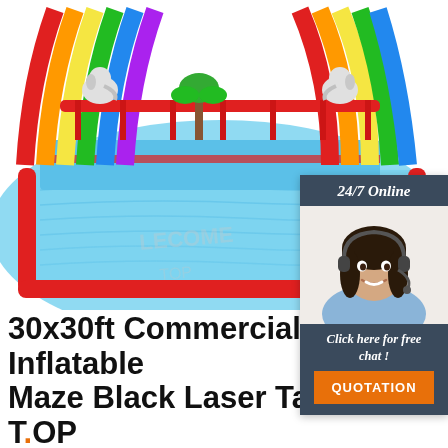[Figure (photo): Large colorful inflatable water slide maze with red borders, blue pool area, rainbow-colored slide sections, and cartoon animal decorations on top]
[Figure (infographic): Customer service chat widget with dark blue header showing '24/7 Online', photo of smiling woman with headset, dark blue bottom panel reading 'Click here for free chat!', and orange 'QUOTATION' button]
30x30ft Commercial Inflatable Maze Black Laser Tag Arena T.OP
With Air Blower. - Carry Bag. - Repair Kits. - Air Blower110V/220V. Marketing of products, service and